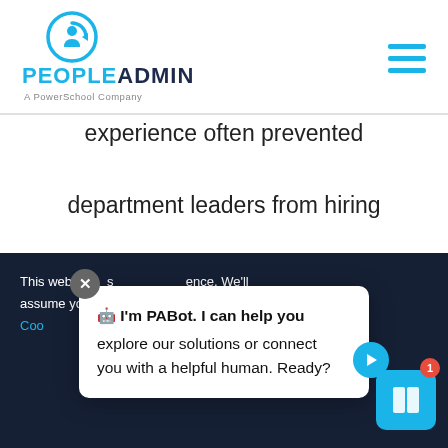PeopleAdmin - A PowerSchool Company
experience often prevented department leaders from hiring diverse candidates, SLCC developed the Diverse Faculty Fellowship Program—which "is designed to provide minority scholars at the beginning of their academic careers with the
This website uses cookies to improve your experience. We'll assume you're ok with this, but you can opt-out if you wish. Cookie settings | I'm PABot. I can help you explore our solutions or connect you with a helpful human. Ready?